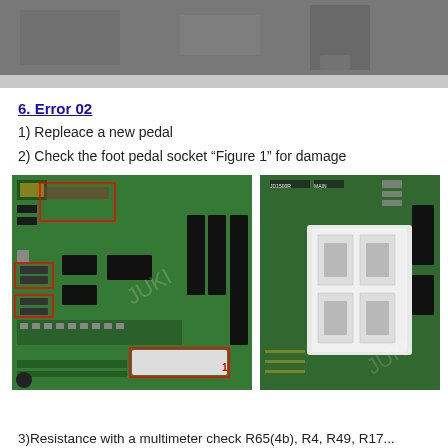[Figure (photo): Top portion of a photo showing electronic hardware, partially visible, gray/dark background]
6. Error 02
1) Repleace a new pedal
2) Check the foot pedal socket “Figure 1” for damage
[Figure (photo): Left: PCB circuit board (green) with components, red highlighted rectangles indicating connectors, and a white connector at bottom labeled '1'. Right: Close-up of a white multi-pin connector on a green PCB.]
3)Resistance with a multimeter check R65(4b), R4, R49, R17...